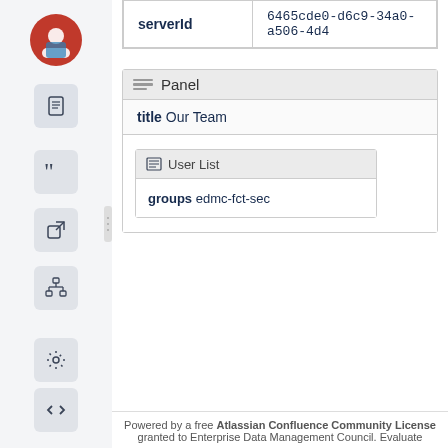| serverId | 6465cde0-d6c9-34a0-a506-4d4 |
| --- | --- |
Panel
| title | Our Team |
| --- | --- |
[Figure (screenshot): Inner panel showing User List with groups edmc-fct-sec]
Powered by a free Atlassian Confluence Community License granted to Enterprise Data Management Council. Evaluate